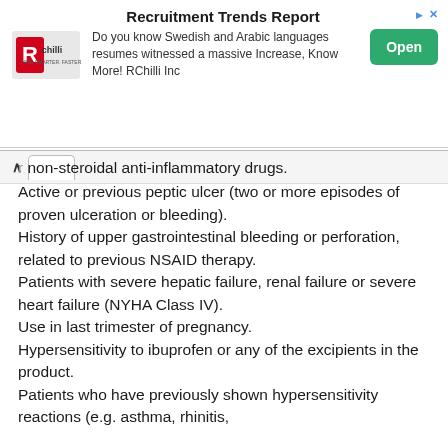[Figure (other): Advertisement banner for RChilli Recruitment Trends Report with logo, text, and Open button]
or non-steroidal anti-inflammatory drugs.
Active or previous peptic ulcer (two or more episodes of proven ulceration or bleeding).
History of upper gastrointestinal bleeding or perforation, related to previous NSAID therapy.
Patients with severe hepatic failure, renal failure or severe heart failure (NYHA Class IV).
Use in last trimester of pregnancy.
Hypersensitivity to ibuprofen or any of the excipients in the product.
Patients who have previously shown hypersensitivity reactions (e.g. asthma, rhinitis,